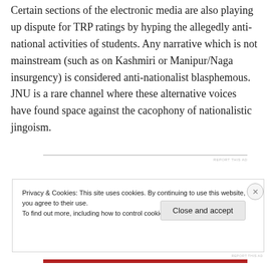Certain sections of the electronic media are also playing up dispute for TRP ratings by hyping the allegedly anti-national activities of students. Any narrative which is not mainstream (such as on Kashmiri or Manipur/Naga insurgency) is considered anti-nationalist blasphemous. JNU is a rare channel where these alternative voices have found space against the cacophony of nationalistic jingoism.
Privacy & Cookies: This site uses cookies. By continuing to use this website, you agree to their use. To find out more, including how to control cookies, see here: Cookie Policy